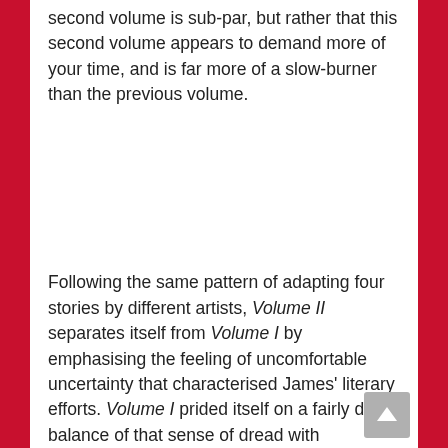second volume is sub-par, but rather that this second volume appears to demand more of your time, and is far more of a slow-burner than the previous volume.
Following the same pattern of adapting four stories by different artists, Volume II separates itself from Volume I by emphasising the feeling of uncomfortable uncertainty that characterised James' literary efforts. Volume I prided itself on a fairly deft balance of that sense of dread with